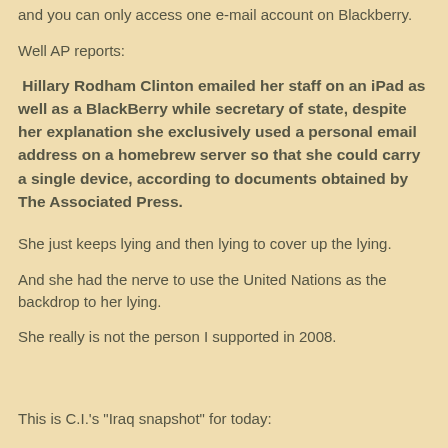and you can only access one e-mail account on Blackberry.
Well AP reports:
Hillary Rodham Clinton emailed her staff on an iPad as well as a BlackBerry while secretary of state, despite her explanation she exclusively used a personal email address on a homebrew server so that she could carry a single device, according to documents obtained by The Associated Press.
She just keeps lying and then lying to cover up the lying.
And she had the nerve to use the United Nations as the backdrop to her lying.
She really is not the person I supported in 2008.
This is C.I.'s "Iraq snapshot" for today: